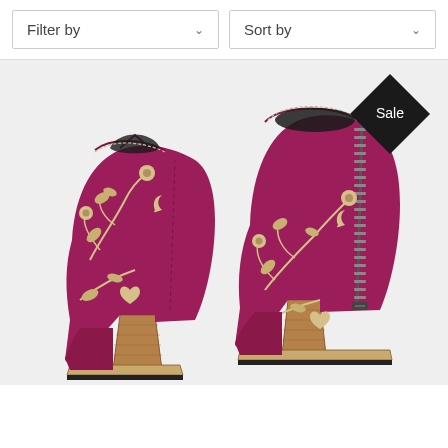Filter by
Sort by
[Figure (photo): Two magenta/berry-colored leather ankle cowboy boots with cream floral embroidery and stacked wooden heels. One boot shown from the back-left angle, one from the front-right angle showing a side zipper. White background.]
Sale